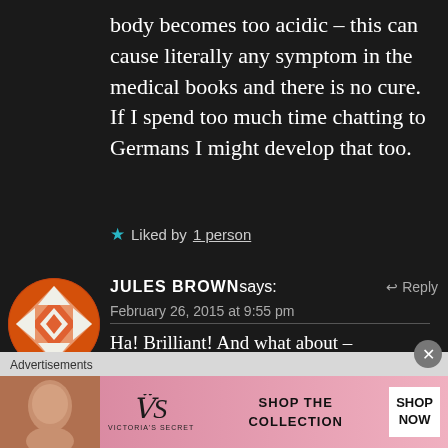body becomes too acidic – this can cause literally any symptom in the medical books and there is no cure. If I spend too much time chatting to Germans I might develop that too.
★ Liked by 1 person
JULES BROWN says: February 26, 2015 at 9:55 pm
Ha! Brilliant! And what about –
[Figure (other): Avatar icon for Jules Brown: orange and white diamond/geometric quilt pattern circle]
Advertisements
[Figure (other): Victoria's Secret advertisement banner with woman, VS logo, SHOP THE COLLECTION text, and SHOP NOW button]